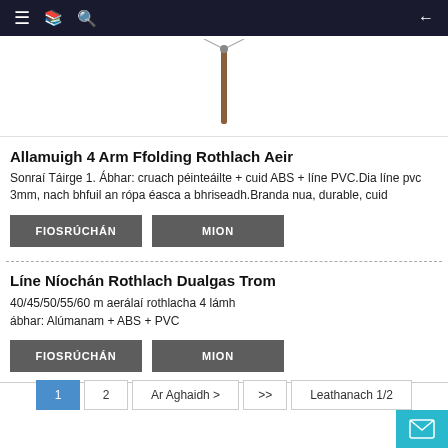Navigation bar with menu, bookmark, search icons and back arrow
[Figure (photo): Partial product image showing what appears to be a folding rotary airer/clothesline on a pole, white background]
Allamuigh 4 Arm Ffolding Rothlach Aeir
Sonraí Táirge 1. Ábhar: cruach péinteáilte + cuid ABS + líne PVC.Dia líne pvc 3mm, nach bhfuil an rópa éasca a bhriseadh.Branda nua, durable, cuid
FIOSRÚCHÁN
MION
Líne Níochán Rothlach Dualgas Trom
40/45/50/55/60 m aerálaí rothlacha 4 lámh
ábhar: Alúmanam + ABS + PVC
FIOSRÚCHÁN
MION
1  2  Ar Aghaidh >  >>  Leathanach 1/2